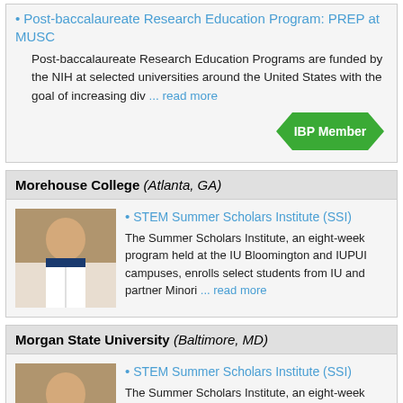Post-baccalaureate Research Education Program: PREP at MUSC
Post-baccalaureate Research Education Programs are funded by the NIH at selected universities around the United States with the goal of increasing div ... read more
[Figure (other): IBP Member ribbon/banner badge in green]
Morehouse College (Atlanta, GA)
[Figure (photo): Photo of a man in a white lab coat near a microscope in a laboratory setting]
STEM Summer Scholars Institute (SSI)
The Summer Scholars Institute, an eight-week program held at the IU Bloomington and IUPUI campuses, enrolls select students from IU and partner Minori ... read more
Morgan State University (Baltimore, MD)
[Figure (photo): Photo of a man in a white lab coat near a microscope in a laboratory setting]
STEM Summer Scholars Institute (SSI)
The Summer Scholars Institute, an eight-week program held at the IU Bloomington and IUPUI